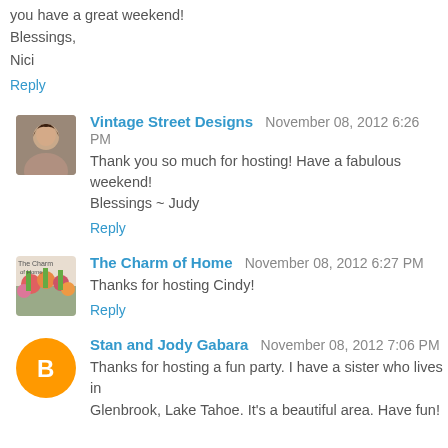you have a great weekend!
Blessings,
Nici
Reply
Vintage Street Designs  November 08, 2012 6:26 PM
Thank you so much for hosting! Have a fabulous weekend! Blessings ~ Judy
Reply
The Charm of Home  November 08, 2012 6:27 PM
Thanks for hosting Cindy!
Reply
Stan and Jody Gabara  November 08, 2012 7:06 PM
Thanks for hosting a fun party. I have a sister who lives in Glenbrook, Lake Tahoe. It's a beautiful area. Have fun!